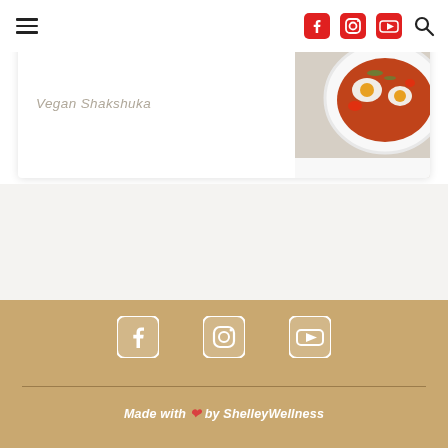Navigation header with hamburger menu and social icons (Facebook, Instagram, YouTube, Search)
[Figure (photo): Food card showing a bowl of Vegan Shakshuka dish with tomatoes and herbs, white background, partial view at top]
Vegan Shakshuka
[Figure (illustration): White social media icons on gold/tan background: Facebook, Instagram, YouTube]
Made with ❤ by ShelleyWellness